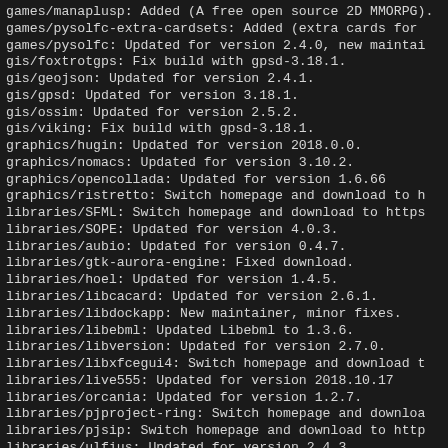games/manaplusp: Added (A free open source 2D MMORPG).
games/pysolfc-extra-cardsets: Added (extra cards for
games/pysolfc: Updated for version 2.4.0, new maintai
gis/foxtrotgps: Fix build with gpsd-3.18.1.
gis/geojson: Updated for version 2.4.1.
gis/gpsd: Updated for version 3.18.1.
gis/ossim: Updated for version 2.5.2.
gis/viking: Fix build with gpsd-3.18.1.
graphics/hugin: Updated for version 2018.0.0.
graphics/nomacs: Updated for version 3.10.2.
graphics/opencollada: Updated for version 1.6.66
graphics/ristretto: Switch homepage and download to h
libraries/SFML: Switch homepage and download to https
libraries/SOPE: Updated for version 4.0.3.
libraries/aubio: Updated for version 0.4.7.
libraries/gtk-aurora-engine: Fixed download.
libraries/hoel: Updated for version 1.4.5.
libraries/libcacard: Updated for version 2.6.1.
libraries/libdockapp: New maintainer, minor fixes.
libraries/libebml: Updated Libebml to 1.3.6.
libraries/libversion: Updated for version 2.7.0.
libraries/libxfcegui4: Switch homepage and download t
libraries/live555: Updated for version 2018.10.17
libraries/orcania: Updated for version 1.2.7.
libraries/pjproject-ring: Switch homepage and downloa
libraries/pjsip: Switch homepage and download to http
libraries/ulfius: Updated for version 2.4.3.
libraries/virglrenderer: Updated for version 0.7.0.
libraries/yder: Updated for version 1.4.3.
multimedia/aces-dev: Switch homepage to https.
multimidia/chapterline: Undated README (anitial ...